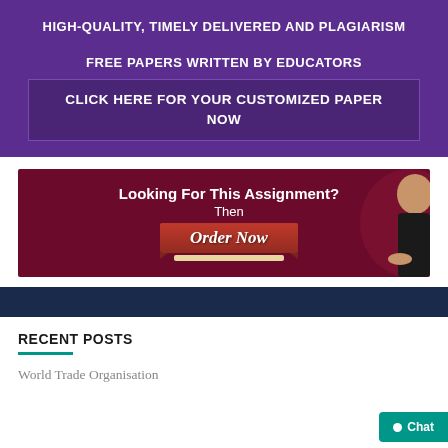HIGH-QUALITY, TIMELY DELIVERED AND PLAGIARISM FREE PAPERS WRITTEN BY EDUCATORS
CLICK HERE FOR YOUR CUSTOMIZED PAPER NOW
[Figure (illustration): Promotional banner with dark red background showing 'Looking For This Assignment? Then Order Now' with a red ribbon and a woman pointing]
RECENT POSTS
World Trade Organisation
Chat